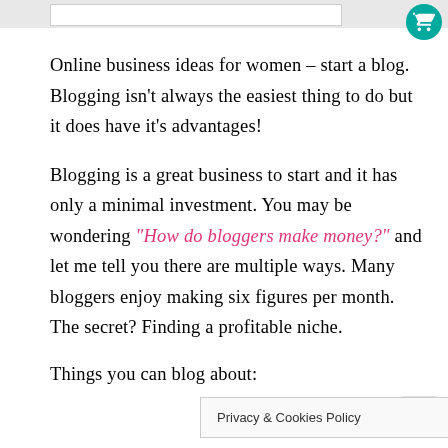Online business ideas for women – start a blog. Blogging isn't always the easiest thing to do but it does have it's advantages!
Blogging is a great business to start and it has only a minimal investment. You may be wondering "How do bloggers make money?" and let me tell you there are multiple ways. Many bloggers enjoy making six figures per month. The secret? Finding a profitable niche.
Things you can blog about:
Privacy & Cookies Policy